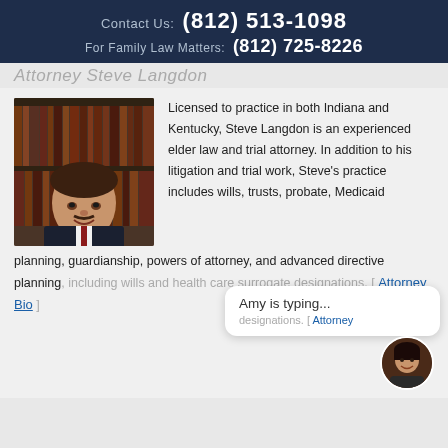Contact Us: (812) 513-1098
For Family Law Matters: (812) 725-8226
Attorney Steve Langdon
[Figure (photo): Professional headshot of Attorney Steve Langdon, a heavyset man in a dark suit with a red tie, smiling, with law books in the background]
Licensed to practice in both Indiana and Kentucky, Steve Langdon is an experienced elder law and trial attorney. In addition to his litigation and trial work, Steve's practice includes wills, trusts, probate, Medicaid planning, guardianship, powers of attorney, and advanced directive planning, including wills and health care surrogate designations. [ Attorney Bio ]
Amy is typing...